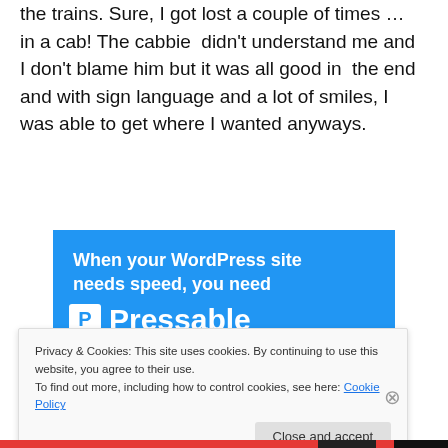the trains. Sure, I got lost a couple of times … in a cab! The cabbie didn't understand me and I don't blame him but it was all good in the end and with sign language and a lot of smiles, I was able to get where I wanted anyways.
[Figure (infographic): Pressable WordPress hosting advertisement banner with blue background, bold white text reading 'When your WordPress site needs speed, you need Pressable', with a Pressable logo (P icon) and a green underline, and a person diving/jumping with a laptop.]
Privacy & Cookies: This site uses cookies. By continuing to use this website, you agree to their use.
To find out more, including how to control cookies, see here: Cookie Policy
Close and accept